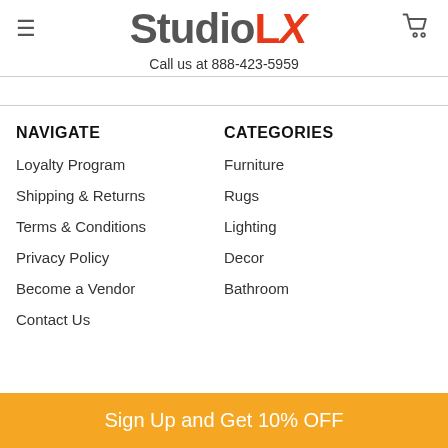StudioLX — Call us at 888-423-5959
NAVIGATE
Loyalty Program
Shipping & Returns
Terms & Conditions
Privacy Policy
Become a Vendor
Contact Us
CATEGORIES
Furniture
Rugs
Lighting
Decor
Bathroom
Sign Up and Get 10% OFF